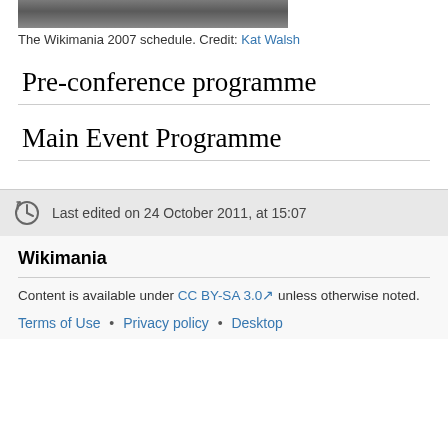[Figure (photo): Cropped bottom portion of a photo showing people's legs/feet at the Wikimania 2007 event, floor tiles visible]
The Wikimania 2007 schedule. Credit: Kat Walsh
Pre-conference programme
Main Event Programme
Last edited on 24 October 2011, at 15:07
Wikimania
Content is available under CC BY-SA 3.0 unless otherwise noted.
Terms of Use • Privacy policy • Desktop